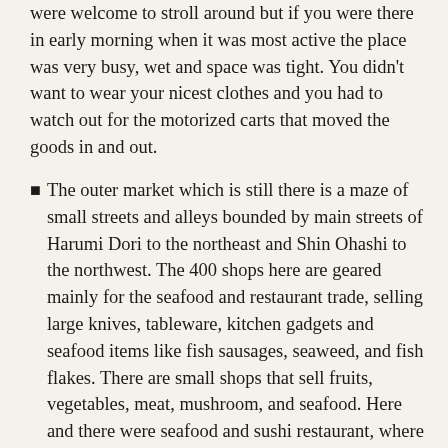were welcome to stroll around but if you were there in early morning when it was most active the place was very busy, wet and space was tight. You didn't want to wear your nicest clothes and you had to watch out for the motorized carts that moved the goods in and out.
The outer market which is still there is a maze of small streets and alleys bounded by main streets of Harumi Dori to the northeast and Shin Ohashi to the northwest. The 400 shops here are geared mainly for the seafood and restaurant trade, selling large knives, tableware, kitchen gadgets and seafood items like fish sausages, seaweed, and fish flakes. There are small shops that sell fruits, vegetables, meat, mushroom, and seafood. Here and there were seafood and sushi restaurant, where you could try some of the best sushi you will ever eat. The easiest way to locate a good place is to look for a line.
Tsukiji means “built land,” a reference to the fact it was placed in a district built on reclaimed land. The first market was situated near Nihonbashi Bridge, two kilometers north of the present site, in the 17th century. Tsukiji opened in the early Edo Period (1603-1867) when Tokugawa Ieyasu invited fishermen from Osaka to Edo (Tokyo) to set up shop in the